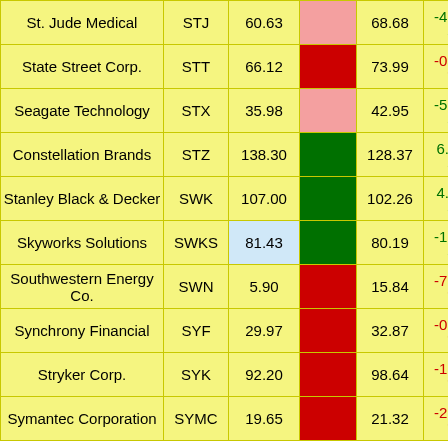| Company | Ticker | Price | Bar | Prev | Change |
| --- | --- | --- | --- | --- | --- |
| St. Jude Medical | STJ | 60.63 |  | 68.68 | -4.26 ▲ |
| State Street Corp. | STT | 66.12 |  | 73.99 | -0.01 ▼ |
| Seagate Technology | STX | 35.98 |  | 42.95 | -5.91 ▲ |
| Constellation Brands | STZ | 138.30 |  | 128.37 | 6.35 ▲ |
| Stanley Black & Decker | SWK | 107.00 |  | 102.26 | 4.34 ▲ |
| Skyworks Solutions | SWKS | 81.43 |  | 80.19 | -1.48 ▲ |
| Southwestern Energy Co. | SWN | 5.90 |  | 15.84 | -7.08 ▼ |
| Synchrony Financial | SYF | 29.97 |  | 32.87 | -0.91 ▼ |
| Stryker Corp. | SYK | 92.20 |  | 98.64 | -1.65 ▼ |
| Symantec Corporation | SYMC | 19.65 |  | 21.32 | -2.44 ▼ |